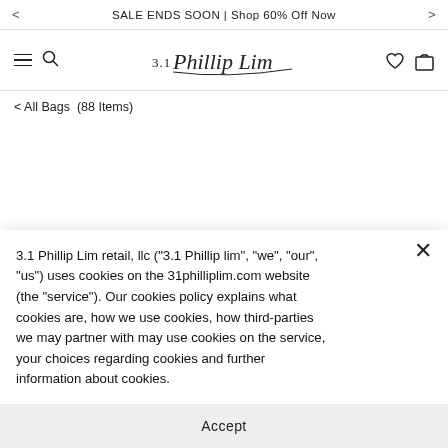SALE ENDS SOON | Shop 60% Off Now
[Figure (logo): 3.1 Phillip Lim logo in cursive script]
< All Bags  (88 Items)
3.1 Phillip Lim retail, llc ("3.1 Phillip lim", "we", "our", "us") uses cookies on the 31philliplim.com website (the "service"). Our cookies policy explains what cookies are, how we use cookies, how third-parties we may partner with may use cookies on the service, your choices regarding cookies and further information about cookies.
Accept